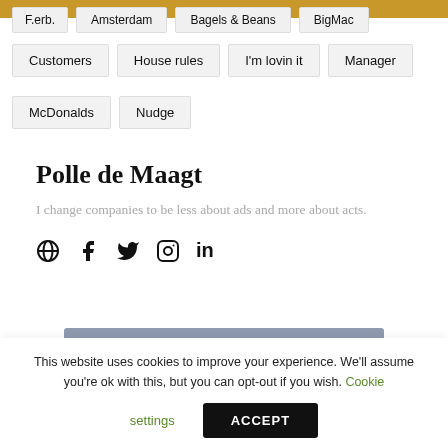F.erb. | Amsterdam | Bagels & Beans | BigMac
Customers
House rules
I'm lovin it
Manager
McDonalds
Nudge
Polle de Maagt
I change companies to be less about ads and more about acts.
[Figure (infographic): Social media icons: globe, Facebook, Twitter, Instagram, LinkedIn]
VIEW COMMENTS (0)
This website uses cookies to improve your experience. We'll assume you're ok with this, but you can opt-out if you wish. Cookie settings ACCEPT